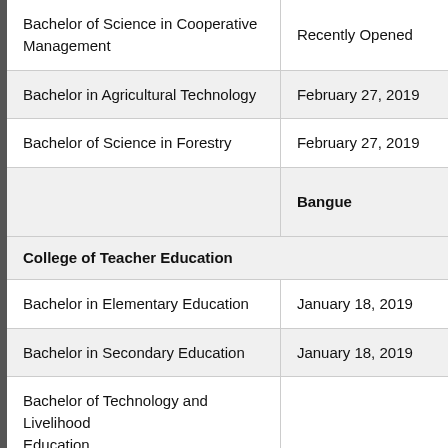| Program | Date |
| --- | --- |
| Bachelor of Science in Cooperative Management | Recently Opened |
| Bachelor in Agricultural Technology | February 27, 2019 |
| Bachelor of Science in Forestry | February 27, 2019 |
|  | Bangue… |
| College of Teacher Education |  |
| Bachelor in Elementary Education | January 18, 2019 |
| Bachelor in Secondary Education | January 18, 2019 |
| Bachelor of Technology and Livelihood Education |  |